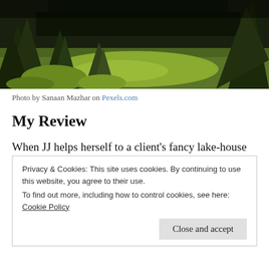[Figure (photo): Outdoor nature scene with evergreen trees and mossy ground at night or dusk, dark tones with green foliage]
Photo by Sanaan Mazhar on Pexels.com
My Review
When JJ helps herself to a client's fancy lake-house for the weekend, she doesn't expect to be accosted, drugged, and flown into the mountains- and then the
Privacy & Cookies: This site uses cookies. By continuing to use this website, you agree to their use.
To find out more, including how to control cookies, see here: Cookie Policy
builds a cabin in the woods. But when an old friend